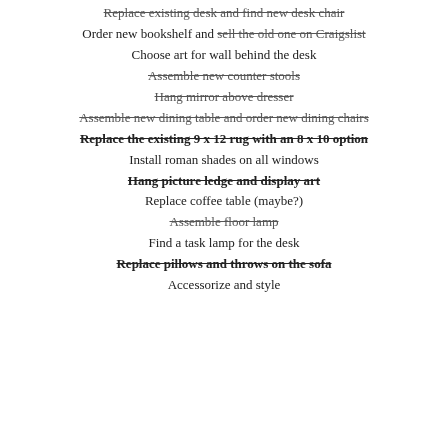Replace existing desk and find new desk chair (strikethrough)
Order new bookshelf and sell the old one on Craigslist (partial strikethrough)
Choose art for wall behind the desk
Assemble new counter stools (strikethrough)
Hang mirror above dresser (strikethrough)
Assemble new dining table and order new dining chairs (strikethrough)
Replace the existing 9 x 12 rug with an 8 x 10 option (bold strikethrough)
Install roman shades on all windows
Hang picture ledge and display art (bold strikethrough)
Replace coffee table (maybe?)
Assemble floor lamp (strikethrough)
Find a task lamp for the desk
Replace pillows and throws on the sofa (bold strikethrough)
Accessorize and style